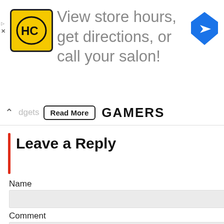[Figure (screenshot): Top advertisement banner: HC salon logo with yellow background, text 'View store hours, get directions, or call your salon!', and a blue Google Maps-style direction icon on the right. Small ad indicators on left side.]
dgets   Read More   GAMERS
Leave a Reply
[Figure (screenshot): Advertisement popup overlay with black header reading 'Advertisement' and X close button, orange body with text 'Most Popular Products' and 'odated Weekly!' with white product icons (laptop, phone, clothing, etc.)]
Name
Comment
[Figure (screenshot): Bottom black advertisement banner showing E3 logo (E in red, 3 in yellow), a white play button triangle, text '1995-2021' in white, and 'PLAYS' text with a gamepad icon in blue. Circle X close button top right.]